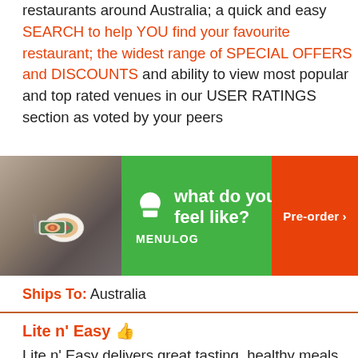restaurants around Australia; a quick and easy SEARCH to help YOU find your favourite restaurant; the widest range of SPECIAL OFFERS and DISCOUNTS and ability to view most popular and top rated venues in our USER RATINGS section as voted by your peers
[Figure (screenshot): Menulog advertisement banner with sushi photo on left, green background with white text 'what do you feel like?' and MENULOG logo/icon, and orange Pre-order button on right]
Ships To: Australia
Lite n' Easy 👍
Lite n' Easy delivers great tasting, healthy meals that make it easy to lose weight and manage your weight. It's also a convenient solution for time-poor people who are too bus